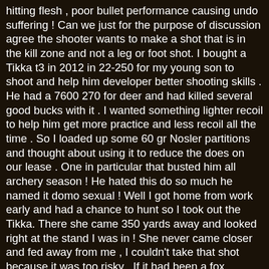hitting flesh , poor bullet performance causing undo suffering ! Can we just for the purpose of discussion agree the shooter wants to make a shot that is in the kill zone and not a leg or foot shot. I bought a Tikka t3 in 2012 in 22-250 for my young son to shoot and help him developer better shooting skills . He had a 7600 270 for deer and had killed several good bucks with it . I wanted something lighter recoil to help him get more practice and less recoil all the time . So I loaded up some 60 gr Nosler partitions and thought about using it to reduce the does on our lease . One in particular that busted him all archery season ! He hated this do so much he named it domo sexual ! Well I got home from work early and had a chance to hunt so I took out the Tikka. There she came 350 yards away and looked right at the stand I was in ! She never came closer and fed away from me , I couldn't take that shot because it was too risky . If it had been a fox , coyote or groundhog I would have pulled the trigger in a second. If it was with my 270 or 3006 I would have killed her right where she was standing but it was out of my self imposed range ! One thing I can say